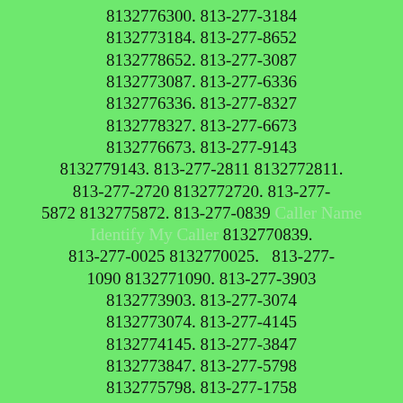8132776300. 813-277-3184 8132773184. 813-277-8652 8132778652. 813-277-3087 8132773087. 813-277-6336 8132776336. 813-277-8327 8132778327. 813-277-6673 8132776673. 813-277-9143 8132779143. 813-277-2811 8132772811. 813-277-2720 8132772720. 813-277-5872 8132775872. 813-277-0839 Caller Name Identify My Caller 8132770839. 813-277-0025 8132770025.   813-277-1090 8132771090. 813-277-3903 8132773903. 813-277-3074 8132773074. 813-277-4145 8132774145. 813-277-3847 8132773847. 813-277-5798 8132775798. 813-277-1758 8132771758. 813-277-6293 8132776293. 813-277-0742 Caller Name Identify My Caller 8132770742. 813-277-1985 8132771985. 813-277-4872 8132774872. 813-277-0198 Caller Name Identify My Caller 8132770198. 813-277-7813 8132777813. 813-277-0854